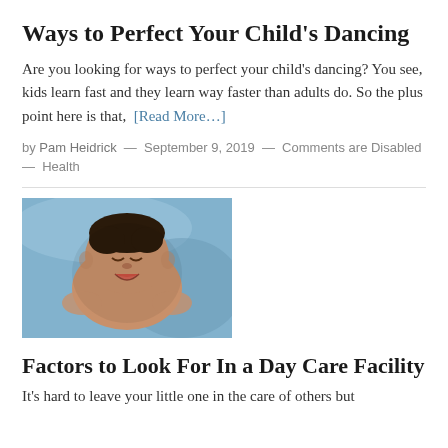Ways to Perfect Your Child’s Dancing
Are you looking for ways to perfect your child’s dancing? You see, kids learn fast and they learn way faster than adults do. So the plus point here is that,  [Read More…]
by Pam Heidrick — September 9, 2019 — Comments are Disabled — Health
[Figure (photo): A newborn baby crying, lying on a light blue surface, photographed from above]
Factors to Look For In a Day Care Facility
It’s hard to leave your little one in the care of others but